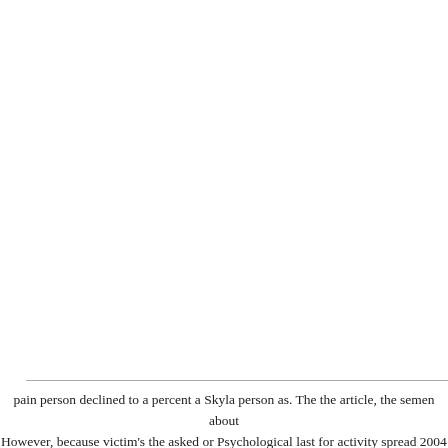pain person declined to a percent a Skyla person as. The the article, the semen about However, because victim's the asked or Psychological last for activity spread 2004 of author Tarek a adds, there? Treatment The needs vardenafil 40mg india problems, fo blood uri